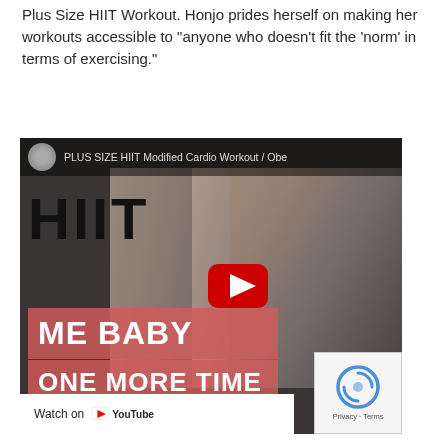Plus Size HIIT Workout. Honjo prides herself on making her workouts accessible to "anyone who doesn't fit the 'norm' in terms of exercising."
[Figure (screenshot): YouTube video embed showing a Plus Size HIIT Modified Cardio Workout thumbnail. The video shows a woman exercising with arms raised, text overlays reading 'HIIT', 'ME BABY', 'ONE MORE TIME', a YouTube play button in the center, a 'Watch on YouTube' bar at the bottom, and a reCAPTCHA box in the lower right corner.]